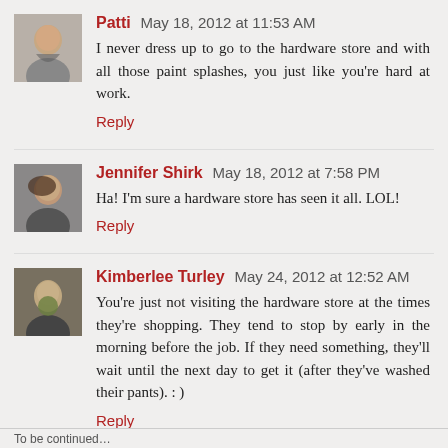Patti May 18, 2012 at 11:53 AM
I never dress up to go to the hardware store and with all those paint splashes, you just like you're hard at work.
Reply
Jennifer Shirk May 18, 2012 at 7:58 PM
Ha! I'm sure a hardware store has seen it all. LOL!
Reply
Kimberlee Turley May 24, 2012 at 12:52 AM
You're just not visiting the hardware store at the times they're shopping. They tend to stop by early in the morning before the job. If they need something, they'll wait until the next day to get it (after they've washed their pants). : )
Reply
To be continued...